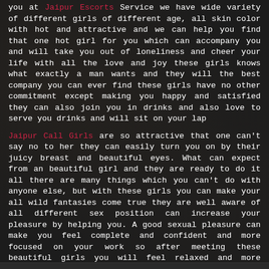you at Jaipur Escorts Service we have wide variety of different girls of different age, all skin color with hot and attractive and we can help you find that one hot girl for you which can accompany you and will take you out of loneliness and cheer your life with all the love and joy these girls knows what exactly a man wants and they will the best company you can ever find these girls have no other commitment except making you happy and satisfied they can also join you in drinks and also love to serve you drinks and will sit on your lap
Jaipur Call Girls are so attractive that one can't say no to her they can easily turn you on by their juicy breast and beautiful eyes. What can expect from an beautiful girl and they are ready to do it all there are many things which you can't do with anyone else, but with these girls you can make your all wild fantasies come true they are well aware of all different sex position can increase your pleasure by helping you. A good sexual pleasure can make you feel complete and confident and more focused on your work so after meeting these beautiful girls you will feel relaxed and more active than before